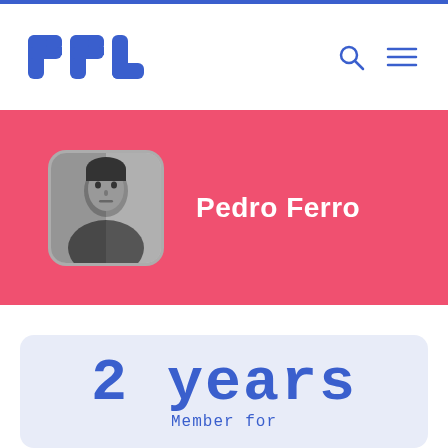PPL
[Figure (photo): Profile photo of Pedro Ferro, black and white portrait of a middle-aged man]
Pedro Ferro
2 years
Member for